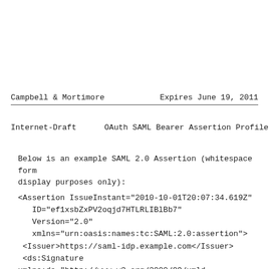Campbell & Mortimore        Expires June 19, 2011
Internet-Draft      OAuth SAML Bearer Assertion Profile
Below is an example SAML 2.0 Assertion (whitespace form display purposes only):
<Assertion IssueInstant="2010-10-01T20:07:34.619Z"
   ID="ef1xsbZxPV2oqjd7HTLRLIBlBb7"
   Version="2.0"
   xmlns="urn:oasis:names:tc:SAML:2.0:assertion">
  <Issuer>https://saml-idp.example.com</Issuer>
  <ds:Signature xmlns:ds="http://www.w3.org/2000/09/xmld
   [...omitted for brevity...]
  </ds:Signature>
  <Subject>
   <NameID